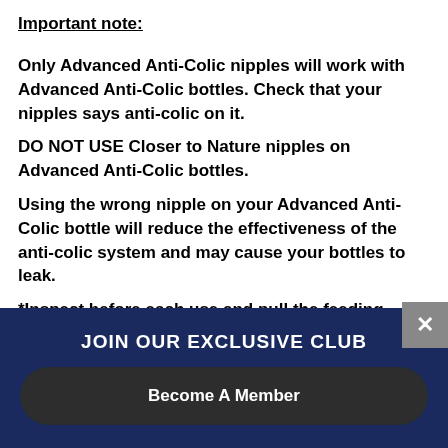Important note:
Only Advanced Anti-Colic nipples will work with Advanced Anti-Colic bottles. Check that your nipples says anti-colic on it.
DO NOT USE Closer to Nature nipples on Advanced Anti-Colic bottles.
Using the wrong nipple on your Advanced Anti-Colic bottle will reduce the effectiveness of the anti-colic system and may cause your bottles to leak.
*Inspect before each use and pull the feeding nipple
JOIN OUR EXCLUSIVE CLUB
Become A Member